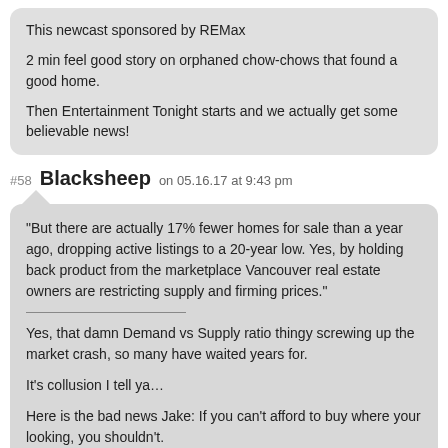This newcast sponsored by REMax

2 min feel good story on orphaned chow-chows that found a good home.

Then Entertainment Tonight starts and we actually get some believable news!
#58 Blacksheep on 05.16.17 at 9:43 pm
“But there are actually 17% fewer homes for sale than a year ago, dropping active listings to a 20-year low. Yes, by holding back product from the marketplace Vancouver real estate owners are restricting supply and firming prices."

Yes, that damn Demand vs Supply ratio thingy screwing up the market crash, so many have waited years for.

It’s collusion I tell ya…

Here is the bad news Jake: If you can’t afford to buy where your looking, you shouldn’t.